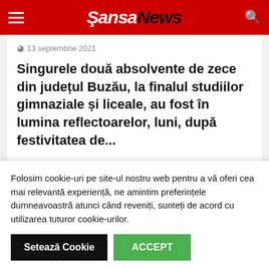SansaNews
13 septembrie 2021
Singurele două absolvente de zece din județul Buzău, la finalul studiilor gimnaziale și liceale, au fost în lumina reflectoarelor, luni, după festivitatea de...
Folosim cookie-uri pe site-ul nostru web pentru a vă oferi cea mai relevantă experiență, ne amintim preferințele dumneavoastră atunci când reveniți, sunteți de acord cu utilizarea tuturor cookie-urilor.
Setează Cookie
ACCEPT